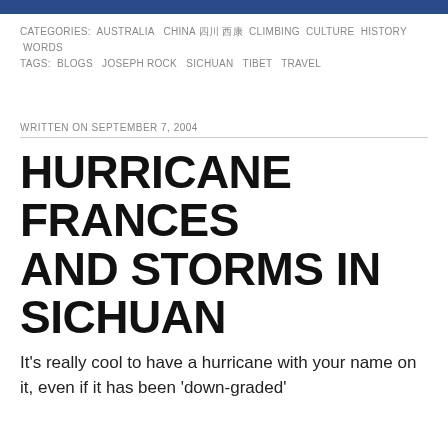CATEGORIES: AUSTRALIA  CHINA 四川  CLIMBING  CULTURE  HISTORY  WORDS
TAGS: BLOGS  JOSEPH ROCK  SICHUAN  TIBET  TRAVEL
WRITTEN ON SEPTEMBER 7, 2004
HURRICANE FRANCES AND STORMS IN SICHUAN
It's really cool to have a hurricane with your name on it, even if it has been 'down-graded'